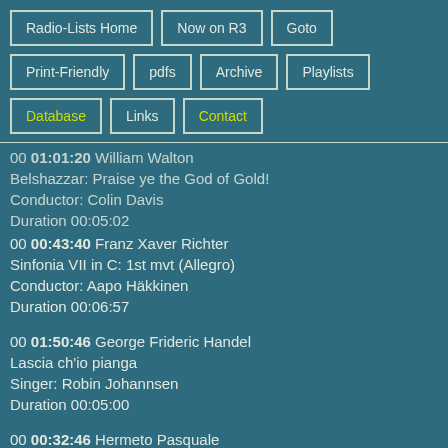Radio-Lists Home
Now on R3
Goto
Print-Friendly
pdfs
Archive
Playlists
Database
Links
Contact
00 01:01:20 William Walton
Belshazzar: Praise ye the God of Gold!
Conductor: Colin Davis
Duration 00:05:02
00 00:43:40 Franz Xaver Richter
Sinfonia VII in C: 1st mvt (Allegro)
Conductor: Aapo Häkkinen
Duration 00:06:57
00 01:50:46 George Frideric Handel
Lascia ch'io pianga
Singer: Robin Johannsen
Duration 00:05:00
00 00:32:46 Hermeto Pasquale